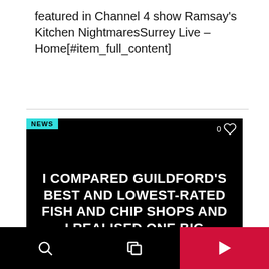featured in Channel 4 show Ramsay's Kitchen NightmaresSurrey Live – Home[#item_full_content]
[Figure (screenshot): News card on black background with headline: I COMPARED GUILDFORD'S BEST AND LOWEST-RATED FISH AND CHIP SHOPS AND I REALISED ONE BIG PROBLEM. Teal NEWS tag top left, heart icon with 0 top right. Date: APRIL 29, 2022 at bottom.]
APRIL 29, 2022
Bottom navigation bar with search, copy, and play icons